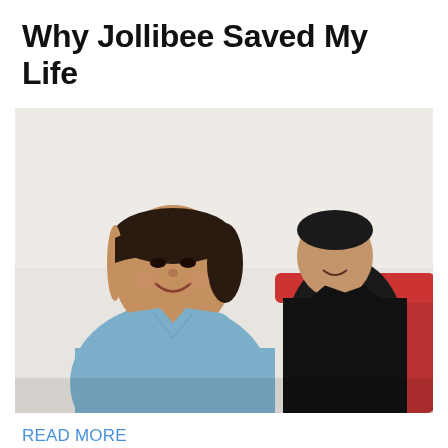Why Jollibee Saved My Life
[Figure (photo): Selfie photo of two people smiling. A woman in a light blue top is in the foreground on the left, and a man in a black jacket is seated on a red couch in the background on the right. The room has a light/cream colored wall.]
READ MORE